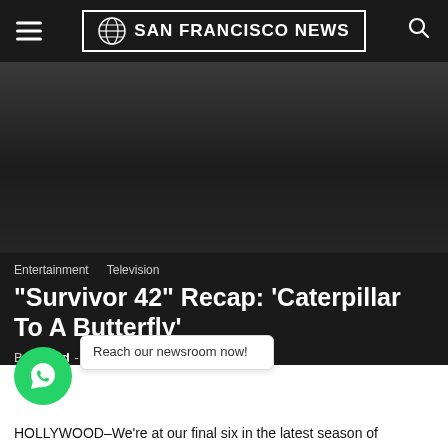SAN FRANCISCO NEWS
[Figure (photo): Dark hero image area with gradient background]
Entertainment   Television
“Survivor 42” Recap: ‘Caterpillar To A Butterfly’
By David - May 19, 2022  💬 0
Reach our newsroom now!
HOLLYWOOD–We're at our final six in the latest season of “Survivor” people. That means this is likely the penultimate